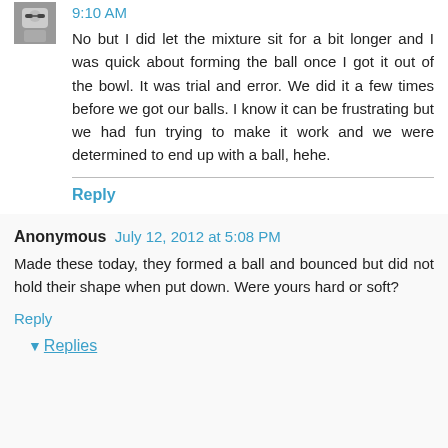9:10 AM
No but I did let the mixture sit for a bit longer and I was quick about forming the ball once I got it out of the bowl. It was trial and error. We did it a few times before we got our balls. I know it can be frustrating but we had fun trying to make it work and we were determined to end up with a ball, hehe.
Reply
Anonymous  July 12, 2012 at 5:08 PM
Made these today, they formed a ball and bounced but did not hold their shape when put down. Were yours hard or soft?
Reply
Replies